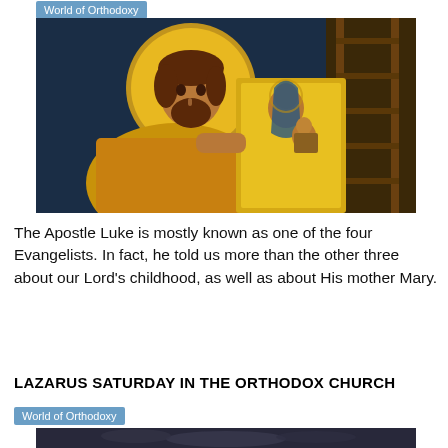World of Orthodoxy
[Figure (illustration): Byzantine icon painting of Apostle Luke with a halo painting an icon of the Virgin Mary holding Christ child. Gold and dark blue color palette.]
The Apostle Luke is mostly known as one of the four Evangelists. In fact, he told us more than the other three about our Lord's childhood, as well as about His mother Mary.
LAZARUS SATURDAY IN THE ORTHODOX CHURCH
World of Orthodoxy
[Figure (photo): Partial view of a dark photograph related to Lazarus Saturday, bottom of the page.]